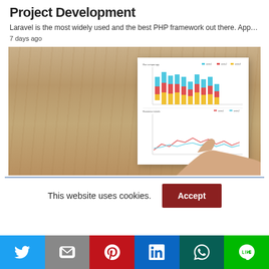Project Development
Laravel is the most widely used and the best PHP framework out there. App…
7 days ago
[Figure (photo): A hand pointing at a printed chart report on a wooden table. The report shows a stacked bar chart and a line chart with multiple colored series.]
This website uses cookies.
[Figure (infographic): Social media sharing buttons: Twitter, Gmail, Pinterest, LinkedIn, WhatsApp, Line]